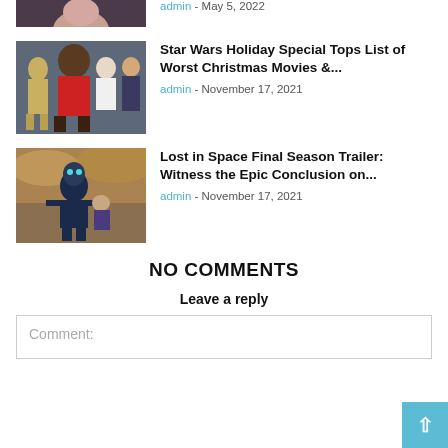[Figure (photo): Partial top view of a person's face cropped at top of page]
admin - May 5, 2022
[Figure (photo): Star Wars characters: C-3PO, Chewbacca in red, and Han Solo]
Star Wars Holiday Special Tops List of Worst Christmas Movies &...
admin - November 17, 2021
[Figure (photo): Robot/android character from Lost in Space against a dramatic sky backdrop]
Lost in Space Final Season Trailer: Witness the Epic Conclusion on...
admin - November 17, 2021
NO COMMENTS
Leave a reply
Comment: